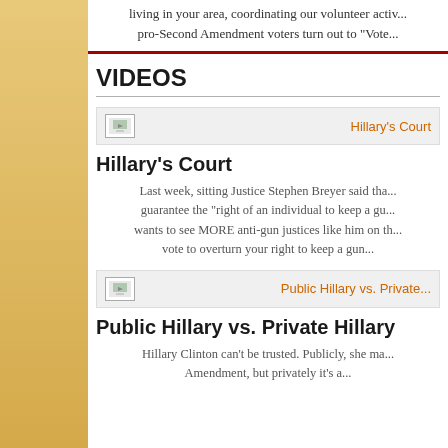living in your area, coordinating our volunteer activ... pro-Second Amendment voters turn out to "Vote...
VIDEOS
[Figure (screenshot): Video thumbnail image placeholder for Hillary's Court]
Hillary's Court
Hillary's Court
Last week, sitting Justice Stephen Breyer said tha... guarantee the "right of an individual to keep a gu... wants to see MORE anti-gun justices like him on th... vote to overturn your right to keep a gun...
[Figure (screenshot): Video thumbnail image placeholder for Public Hillary vs. Private Hillary]
Public Hillary vs. Private Hillary
Public Hillary vs. Private Hillary
Hillary Clinton can't be trusted. Publicly, she ma... Amendment, but privately it's a...